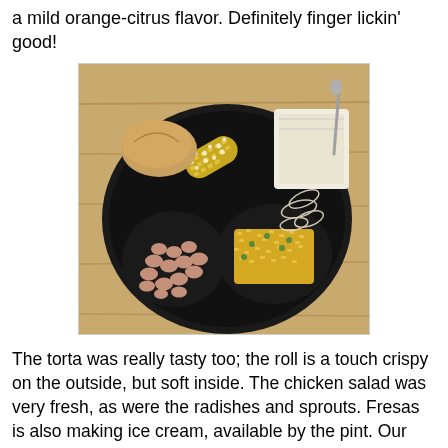a mild orange-citrus flavor. Definitely finger lickin' good!
[Figure (photo): A black plate filled with food including beans, yellow rice, corn on the cob with toppings, bread roll, and other items on a wooden table surface.]
The torta was really tasty too; the roll is a touch crispy on the outside, but soft inside. The chicken salad was very fresh, as were the radishes and sprouts. Fresas is also making ice cream, available by the pint. Our summertime weather is not always conducive to transporting ice cream, so it would be great to see some Mexican-inspired cookies available, or heck, even a brownie! Just a touch of something sweet to finish off this lovely meal. I can't wait to go back and try the other chicken!